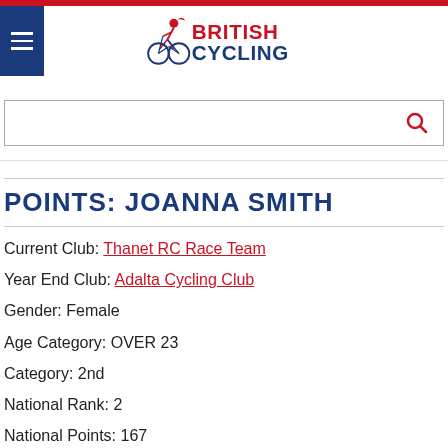[Figure (logo): British Cycling logo with cyclist icon and red/navy text]
POINTS: JOANNA SMITH
Current Club: Thanet RC Race Team
Year End Club: Adalta Cycling Club
Gender: Female
Age Category: OVER 23
Category: 2nd
National Rank: 2
National Points: 167
Regional Rank: N/A